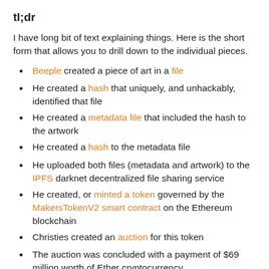tl;dr
I have long bit of text explaining things. Here is the short form that allows you to drill down to the individual pieces.
Beeple created a piece of art in a file
He created a hash that uniquely, and unhackably, identified that file
He created a metadata file that included the hash to the artwork
He created a hash to the metadata file
He uploaded both files (metadata and artwork) to the IPFS darknet decentralized file sharing service
He created, or minted a token governed by the MakersTokenV2 smart contract on the Ethereum blockchain
Christies created an auction for this token
The auction was concluded with a payment of $69 million worth of Ether cryptocurrency.